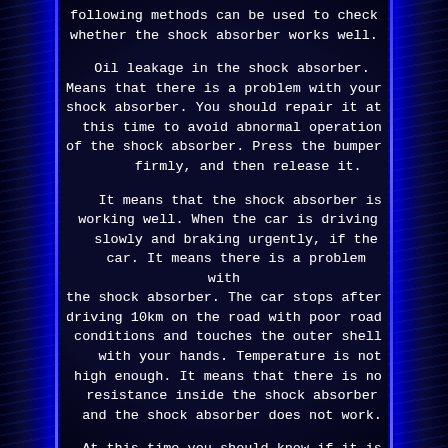following methods can be used to check whether the shock absorber works well.
Oil leakage in the shock absorber. Means that there is a problem with your shock absorber. You should repair it at this time to avoid abnormal operation of the shock absorber. Press the bumper firmly, and then release it.
It means that the shock absorber is working well. When the car is driving slowly and braking urgently, if the car. It means there is a problem with the shock absorber. The car stops after driving 10km on the road with poor road conditions and touches the outer shell with your hands. Temperature is not high enough. It means that there is no resistance inside the shock absorber and the shock absorber does not work.
At this time you should know if it is time to replace the shock absorber. What shocks and struts do? You could say that their main job is to resist both tire and vehicle body motion. When